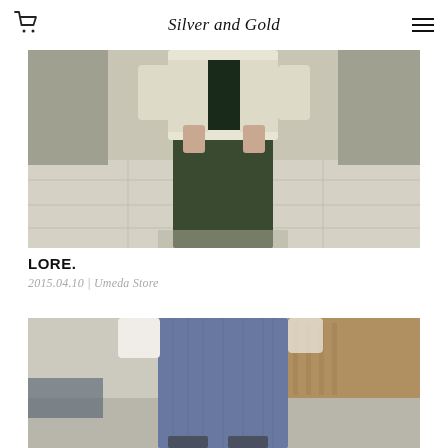Silver and Gold
[Figure (photo): Fashion photo showing a person wearing a cream/white open jacket over dark clothing with dark green wide-leg pants, photographed from waist down in an interior setting with tiled floor]
LORE.
2015.04.10 | Umeda Store
[Figure (photo): Fashion photo showing a person wearing wide-leg blue/indigo striped trousers and a white shirt, photographed in an interior setting with wood paneling visible in background]